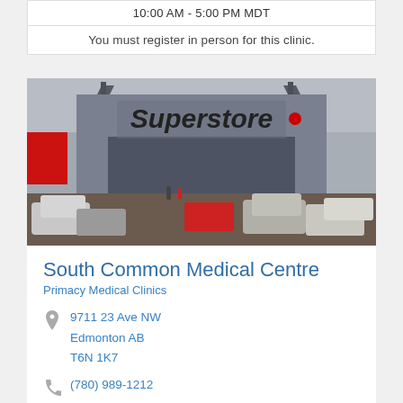10:00 AM - 5:00 PM MDT
You must register in person for this clinic.
[Figure (photo): Exterior photo of a Real Canadian Superstore building with parking lot in front]
South Common Medical Centre
Primacy Medical Clinics
9711 23 Ave NW
Edmonton AB
T6N 1K7
(780) 989-1212